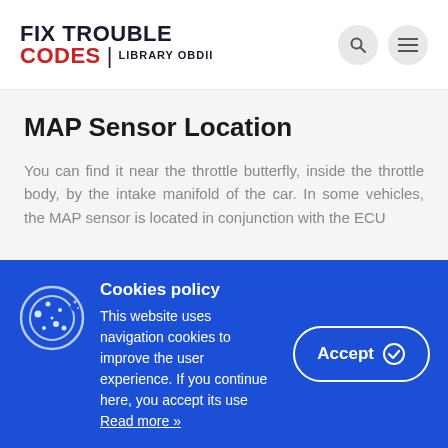FIX TROUBLE CODES | LIBRARY OBDII
MAP Sensor Location
You can find it near the throttle butterfly, inside the throttle body, by the intake manifold of the car. In some vehicles, the MAP sensor is located in conjunction with the ECU
Cookies policy
This website uses navigation cookies to improve the user experience. If you continue here, you accept its use Read more »